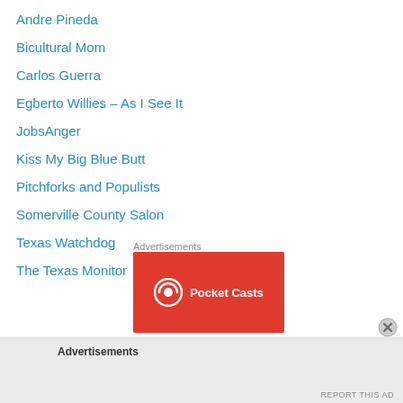Andre Pineda
Bicultural Mom
Carlos Guerra
Egberto Willies – As I See It
JobsAnger
Kiss My Big Blue Butt
Pitchforks and Populists
Somerville County Salon
Texas Watchdog
The Texas Monitor
Advertisements
[Figure (logo): Pocket Casts logo on red background]
Advertisements
REPORT THIS AD